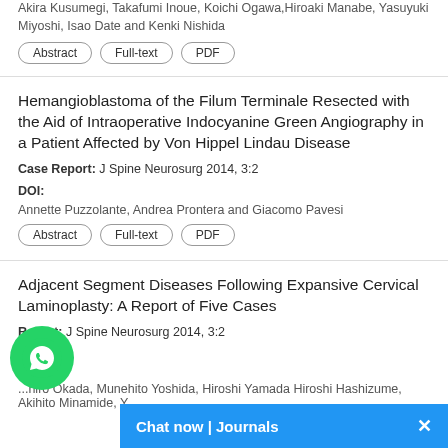Akira Kusumegi, Takafumi Inoue, Koichi Ogawa, Hiroaki Manabe, Yasuyuki Miyoshi, Isao Date and Kenki Nishida
Abstract | Full-text | PDF
Hemangioblastoma of the Filum Terminale Resected with the Aid of Intraoperative Indocyanine Green Angiography in a Patient Affected by Von Hippel Lindau Disease
Case Report: J Spine Neurosurg 2014, 3:2
DOI:
Annette Puzzolante, Andrea Prontera and Giacomo Pavesi
Abstract | Full-text | PDF
Adjacent Segment Diseases Following Expansive Cervical Laminoplasty: A Report of Five Cases
Case Report: J Spine Neurosurg 2014, 3:2
...niro Okada, Munehito Yoshida, Hiroshi Yamada Hiroshi Hashizume, Akihito Minamide, Y...